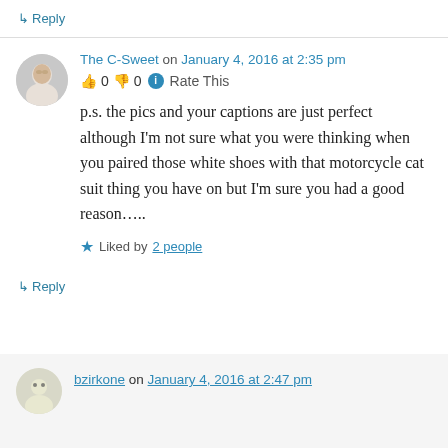↳ Reply
The C-Sweet on January 4, 2016 at 2:35 pm
👍 0 👎 0 ℹ Rate This
p.s. the pics and your captions are just perfect although I'm not sure what you were thinking when you paired those white shoes with that motorcycle cat suit thing you have on but I'm sure you had a good reason…..
★ Liked by 2 people
↳ Reply
bzirkone on January 4, 2016 at 2:47 pm